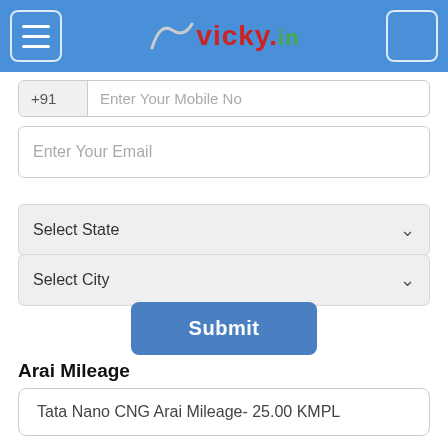vicky.in
+91   Enter Your Mobile No
Enter Your Email
Select State
Select City
Submit
Arai Mileage
Tata Nano CNG Arai Mileage- 25.00 KMPL
Related Tags:
Tata Nano CNG Specifications, Tata Nano CNG Specs, Tata Nano CNG Specifications, Tata Nano CNG Hi...